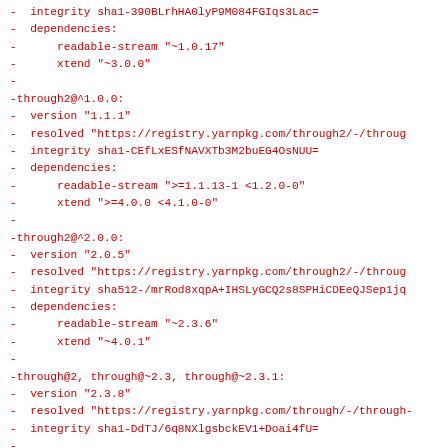- integrity sha1-390BLrhHA0lyP9M084FGIqs3Lac=
- dependencies:
-     readable-stream "~1.0.17"
-     xtend "~3.0.0"
-
-through2@^1.0.0:
- version "1.1.1"
- resolved "https://registry.yarnpkg.com/through2/-/throug"
- integrity sha1-CEfLxESfNAVXTb3M2buEG4OsNUU=
- dependencies:
-     readable-stream ">=1.1.13-1 <1.2.0-0"
-     xtend ">=4.0.0 <4.1.0-0"
-
-through2@^2.0.0:
- version "2.0.5"
- resolved "https://registry.yarnpkg.com/through2/-/throug"
- integrity sha512-/mrRod8xqpA+IHSLyGCQ2s8SPHiCDEeQJSep1jq
- dependencies:
-     readable-stream "~2.3.6"
-     xtend "~4.0.1"
-
-through@2, through@~2.3, through@~2.3.1:
- version "2.3.8"
- resolved "https://registry.yarnpkg.com/through/-/through-"
- integrity sha1-DdTJ/6q8NXlgsbckEV1+Doai4fU=
-
-tildify@^1.0.0:
- version "1.2.0"
- resolved "https://registry.yarnpkg.com/tildify/-/tildify-"
- integrity sha1-3OwD9V3Km3qj5bBPIYF+tW5jWIo=
- dependencies:
-     os-homedir "^1.0.0"